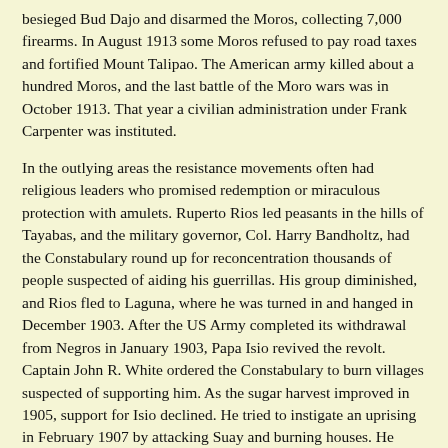besieged Bud Dajo and disarmed the Moros, collecting 7,000 firearms. In August 1913 some Moros refused to pay road taxes and fortified Mount Talipao. The American army killed about a hundred Moros, and the last battle of the Moro wars was in October 1913. That year a civilian administration under Frank Carpenter was instituted.
In the outlying areas the resistance movements often had religious leaders who promised redemption or miraculous protection with amulets. Ruperto Rios led peasants in the hills of Tayabas, and the military governor, Col. Harry Bandholtz, had the Constabulary round up for reconcentration thousands of people suspected of aiding his guerrillas. His group diminished, and Rios fled to Laguna, where he was turned in and hanged in December 1903. After the US Army completed its withdrawal from Negros in January 1903, Papa Isio revived the revolt. Captain John R. White ordered the Constabulary to burn villages suspected of supporting him. As the sugar harvest improved in 1905, support for Isio declined. He tried to instigate an uprising in February 1907 by attacking Suay and burning houses. He gained a hundred new recruits but had to surrender in August, when he was tried and executed.
In Cebu the brothers Quintin and Anatalio Tabal led the pulajanes who wore red uniforms. They killed four American teachers and fought the men of the Constabulary with their amulets...